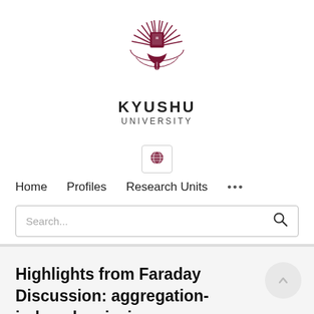[Figure (logo): Kyushu University logo: a dark red/maroon emblem with radiating leaf/feather motifs and a central crest]
KYUSHU UNIVERSITY
Home   Profiles   Research Units   ...
Search...
Highlights from Faraday Discussion: aggregation-induced emission